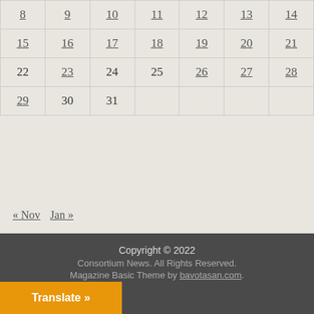| Sun | Mon | Tue | Wed | Thu | Fri | Sat |
| --- | --- | --- | --- | --- | --- | --- |
| 8 | 9 | 10 | 11 | 12 | 13 | 14 |
| 15 | 16 | 17 | 18 | 19 | 20 | 21 |
| 22 | 23 | 24 | 25 | 26 | 27 | 28 |
| 29 | 30 | 31 |  |  |  |  |
« Nov   Jan »
Comment Policy
Privacy Policy
Contact Us
Copyright © 2022
Consortium News. All Rights Reserved.
Magazine Basic Theme by bavotasan.com.
Translate »